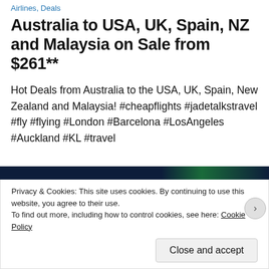Airlines, Deals
Australia to USA, UK, Spain, NZ and Malaysia on Sale from $261**
Hot Deals from Australia to the USA, UK, Spain, New Zealand and Malaysia! #cheapflights #jadetalkstravel #fly #flying #London #Barcelona #LosAngeles #Auckland #KL #travel
[Figure (screenshot): Cookie consent banner with dark navy/green gradient header bar, privacy notice text, and Close and accept button]
Privacy & Cookies: This site uses cookies. By continuing to use this website, you agree to their use.
To find out more, including how to control cookies, see here: Cookie Policy